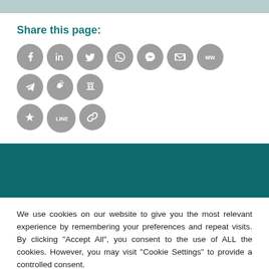Share this page:
[Figure (infographic): Social media share icon buttons arranged in two rows: Facebook, LinkedIn, Twitter, WhatsApp, Messenger, Email, MediaWiki, Telegram, Weibo, Douban (top row); Qzone, LINE, Copy Link (bottom row)]
We use cookies on our website to give you the most relevant experience by remembering your preferences and repeat visits. By clicking “Accept All”, you consent to the use of ALL the cookies. However, you may visit "Cookie Settings" to provide a controlled consent.
Cookie Settings
Accept All